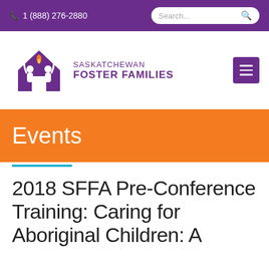1 (888) 276-2880
[Figure (logo): Saskatchewan Foster Families logo — purple house silhouette with two figures and a flame, with the text SASKATCHEWAN FOSTER FAMILIES]
Events
2018 SFFA Pre-Conference Training: Caring for Aboriginal Children: A